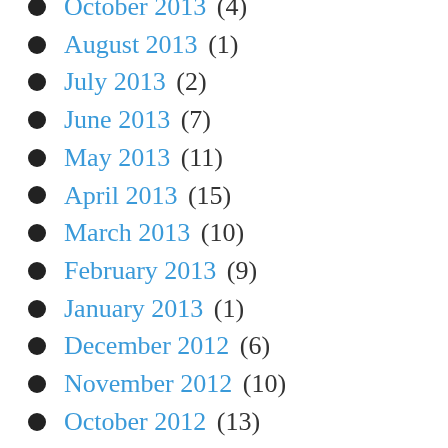October 2013 (4)
August 2013 (1)
July 2013 (2)
June 2013 (7)
May 2013 (11)
April 2013 (15)
March 2013 (10)
February 2013 (9)
January 2013 (1)
December 2012 (6)
November 2012 (10)
October 2012 (13)
September 2012 (11)
August 2012 (9)
July 2012 (23)
June 2012 (10)
May 2012 (9)